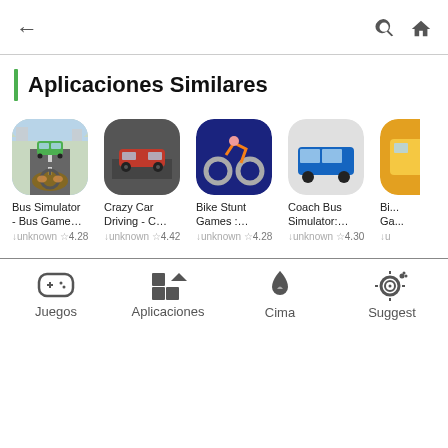← (back) | 🔍 🏠 (search, home)
Aplicaciones Similares
[Figure (screenshot): App listing row showing similar apps: Bus Simulator - Bus Game..., Crazy Car Driving - C..., Bike Stunt Games :..., Coach Bus Simulator:..., Bi... Ga... (partially visible). Each with icon, name, rating like unknown ☆4.28, unknown ☆4.42, unknown ☆4.28, unknown ☆4.30.]
Juegos | Aplicaciones | Cima | Suggest